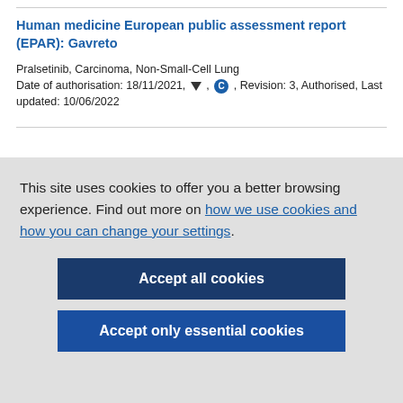Human medicine European public assessment report (EPAR): Gavreto
Pralsetinib, Carcinoma, Non-Small-Cell Lung
Date of authorisation: 18/11/2021, ▼, C, Revision: 3, Authorised, Last updated: 10/06/2022
This site uses cookies to offer you a better browsing experience. Find out more on how we use cookies and how you can change your settings.
Accept all cookies
Accept only essential cookies